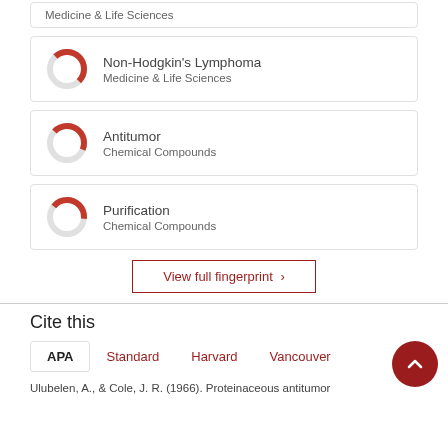[Figure (other): Partial card showing 'Medicine & Life Sciences' text at top]
Non-Hodgkin's Lymphoma
Medicine & Life Sciences
Antitumor
Chemical Compounds
Purification
Chemical Compounds
View full fingerprint >
Cite this
APA  Standard  Harvard  Vancouver
Ulubelen, A., & Cole, J. R. (1966). Proteinaceous antitumor